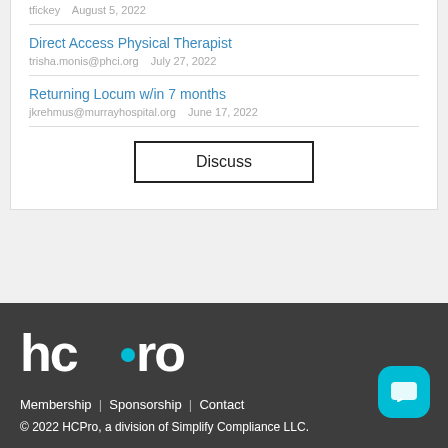tfickey   August 5, 2022
Direct Access Physical Therapist
trisha.monis@phci.org   July 27, 2022
Returning Locum w/in 7 months
jkrehmus@murrayhospital.org   June 17, 2022
Discuss
[Figure (logo): HCPro logo in white text with teal dot accent]
Membership | Sponsorship | Contact
© 2022 HCPro, a division of Simplify Compliance LLC.